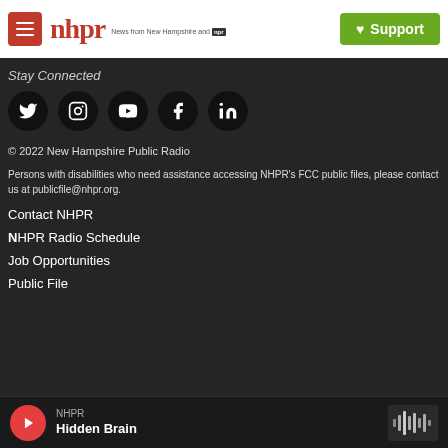nhpr — News from New Hampshire and NPR | Support
Stay Connected
[Figure (illustration): Social media icons: Twitter, Instagram, YouTube, Facebook, LinkedIn — each in a black circle]
© 2022 New Hampshire Public Radio
Persons with disabilities who need assistance accessing NHPR's FCC public files, please contact us at publicfile@nhpr.org.
Contact NHPR
NHPR Radio Schedule
Job Opportunities
Public File
NHPR — Hidden Brain [player]